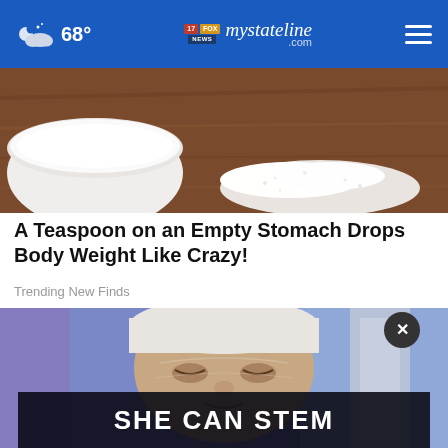68° mystateline.com
[Figure (photo): Close-up of a white bowl and a pile of white sugar/powder on a wooden cutting board surface]
A Teaspoon on an Empty Stomach Drops Body Weight Like Crazy!
Trending New Finds
[Figure (photo): Person lying down with face looking upward in a clinical/spa setting, overlaid with a dark banner advertisement reading SHE CAN STEM with a close (X) button]
SHE CAN STEM